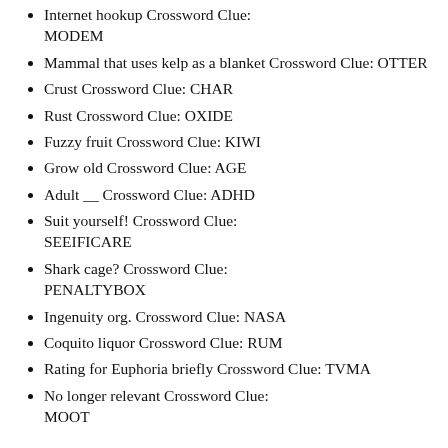Internet hookup Crossword Clue: MODEM
Mammal that uses kelp as a blanket Crossword Clue: OTTER
Crust Crossword Clue: CHAR
Rust Crossword Clue: OXIDE
Fuzzy fruit Crossword Clue: KIWI
Grow old Crossword Clue: AGE
Adult __ Crossword Clue: ADHD
Suit yourself! Crossword Clue: SEEIFICARE
Shark cage? Crossword Clue: PENALTYBOX
Ingenuity org. Crossword Clue: NASA
Coquito liquor Crossword Clue: RUM
Rating for Euphoria briefly Crossword Clue: TVMA
No longer relevant Crossword Clue: MOOT